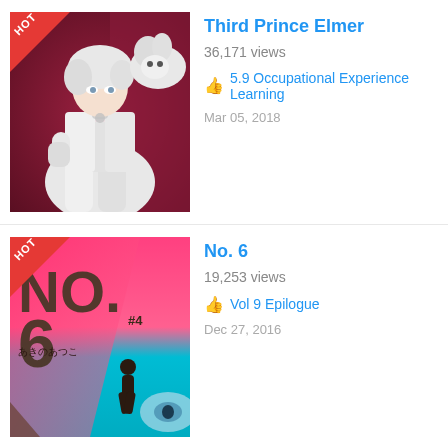[Figure (illustration): Manga/anime cover art for 'Third Prince Elmer' showing a white-haired male character in white clothing with a white wolf, against a dark red background. HOT badge in top-left corner.]
Third Prince Elmer
36,171 views
5.9 Occupational Experience Learning
Mar 05, 2018
[Figure (illustration): Manga/anime cover art for 'No. 6' showing large text 'NO.6 #4' in dark brown, pink/magenta and cyan/teal background with a silhouetted figure and eye design. Japanese text 'あきのあつこ'. HOT badge in top-left corner.]
No. 6
19,253 views
Vol 9 Epilogue
Dec 27, 2016